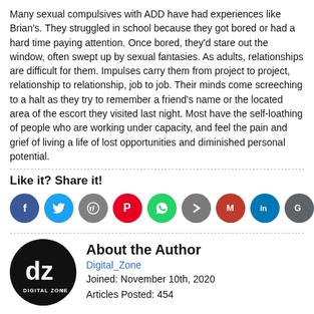Many sexual compulsives with ADD have had experiences like Brian's. They struggled in school because they got bored or had a hard time paying attention. Once bored, they'd stare out the window, often swept up by sexual fantasies. As adults, relationships are difficult for them. Impulses carry them from project to project, relationship to relationship, job to job. Their minds come screeching to a halt as they try to remember a friend's name or the located area of the escort they visited last night. Most have the self-loathing of people who are working under capacity, and feel the pain and grief of living a life of lost opportunities and diminished personal potential.
Like it? Share it!
[Figure (infographic): Row of 10 social media share buttons as colored circles: Facebook (blue, f), Twitter (light blue, bird), Reddit (gray, alien), Pinterest (red, P), WhatsApp (green, phone), Forward (gray, arrow), Gmail (dark red, M), LinkedIn (blue, in), Google (gray, G), More (orange, +)]
About the Author
Digital_Zone
Joined: November 10th, 2020
Articles Posted: 454